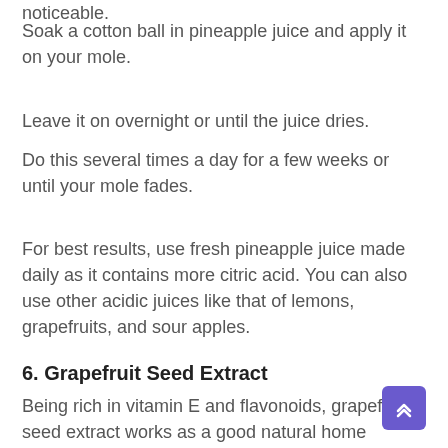noticeable.
Soak a cotton ball in pineapple juice and apply it on your mole.
Leave it on overnight or until the juice dries.
Do this several times a day for a few weeks or until your mole fades.
For best results, use fresh pineapple juice made daily as it contains more citric acid. You can also use other acidic juices like that of lemons, grapefruits, and sour apples.
6. Grapefruit Seed Extract
Being rich in vitamin E and flavonoids, grapefruit seed extract works as a good natural home remedy to get